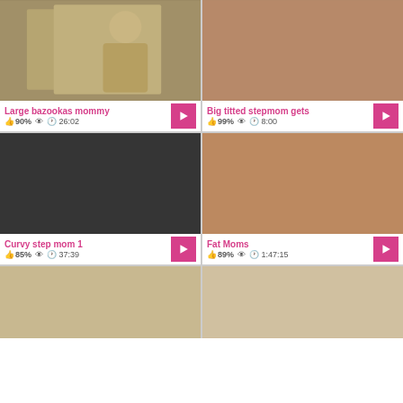[Figure (screenshot): Video thumbnail grid showing 6 video cards in 2 columns. Each card has a thumbnail image, title, rating, view count, duration, and play button.]
Large bazookas mommy | 90% | 26:02
Big titted stepmom gets | 99% | 8:00
Curvy step mom 1 | 85% | 37:39
Fat Moms | 89% | 1:47:15